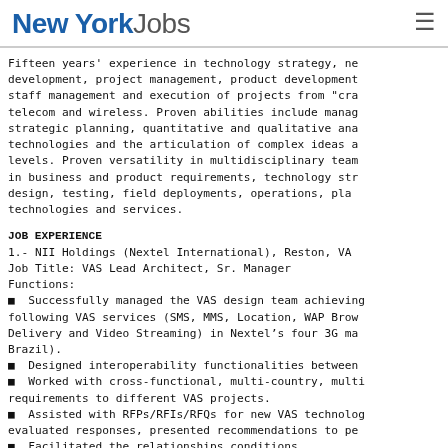New York Jobs
Fifteen years' experience in technology strategy, network development, project management, product development, staff management and execution of projects from “cra... telecom and wireless. Proven abilities include manag... strategic planning, quantitative and qualitative ana... technologies and the articulation of complex ideas a... levels. Proven versatility in multidisciplinary team in business and product requirements, technology str... design, testing, field deployments, operations, pla... technologies and services.
JOB EXPERIENCE
1.- NII Holdings (Nextel International), Reston, VA
Job Title: VAS Lead Architect, Sr. Manager
Functions:
■  Successfully managed the VAS design team achieving following VAS services (SMS, MMS, Location, WAP Brow... Delivery and Video Streaming) in Nextel’s four 3G ma... Brazil).
■  Designed interoperability functionalities between
■  Worked with cross-functional, multi-country, multi requirements to different VAS projects.
■  Assisted with RFPs/RFIs/RFQs for new VAS technolog... evaluated responses, presented recommendations to pe...
■  Facilitated the relationships conditions...